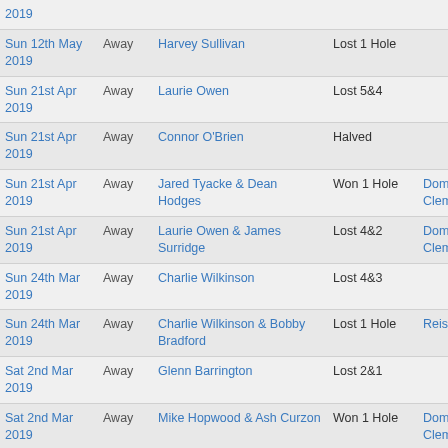| Date | Venue | Opponent | Result | Partner |
| --- | --- | --- | --- | --- |
| 2019 | Away | Harvey Sullivan | Lost 1 Hole |  |
| Sun 12th May 2019 | Away | Harvey Sullivan | Lost 1 Hole |  |
| Sun 21st Apr 2019 | Away | Laurie Owen | Lost 5&4 |  |
| Sun 21st Apr 2019 | Away | Connor O'Brien | Halved |  |
| Sun 21st Apr 2019 | Away | Jared Tyacke & Dean Hodges | Won 1 Hole | Dominic Clemons |
| Sun 21st Apr 2019 | Away | Laurie Owen & James Surridge | Lost 4&2 | Dominic Clemons |
| Sun 24th Mar 2019 | Away | Charlie Wilkinson | Lost 4&3 |  |
| Sun 24th Mar 2019 | Away | Charlie Wilkinson & Bobby Bradford | Lost 1 Hole | Reis Suart |
| Sat 2nd Mar 2019 | Away | Glenn Barrington | Lost 2&1 |  |
| Sat 2nd Mar 2019 | Away | Mike Hopwood & Ash Curzon | Won 1 Hole | Dominic Clemons |